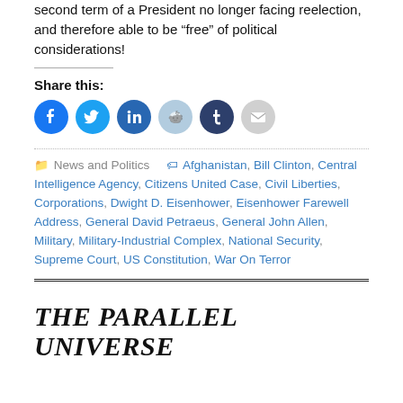second term of a President no longer facing reelection, and therefore able to be “free” of political considerations!
Share this:
[Figure (infographic): Row of six circular social media share buttons: Facebook (blue), Twitter (light blue), LinkedIn (medium blue), Reddit (light blue), Tumblr (dark navy), Email (light gray)]
News and Politics   Afghanistan, Bill Clinton, Central Intelligence Agency, Citizens United Case, Civil Liberties, Corporations, Dwight D. Eisenhower, Eisenhower Farewell Address, General David Petraeus, General John Allen, Military, Military-Industrial Complex, National Security, Supreme Court, US Constitution, War On Terror
THE PARALLEL UNIVERSE